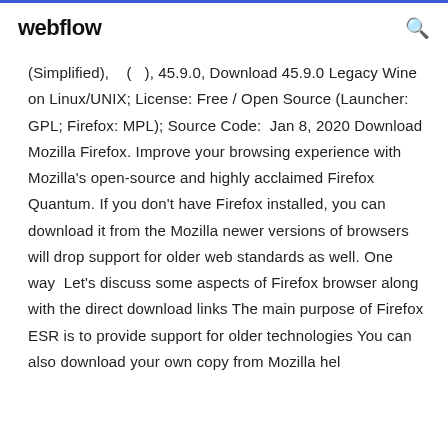webflow
(Simplified),  (  ), 45.9.0, Download 45.9.0 Legacy Wine on Linux/UNIX; License: Free / Open Source (Launcher: GPL; Firefox: MPL); Source Code:  Jan 8, 2020 Download Mozilla Firefox. Improve your browsing experience with Mozilla's open-source and highly acclaimed Firefox Quantum. If you don't have Firefox installed, you can download it from the Mozilla newer versions of browsers will drop support for older web standards as well. One way  Let's discuss some aspects of Firefox browser along with the direct download links The main purpose of Firefox ESR is to provide support for older technologies You can also download your own copy from Mozilla hel